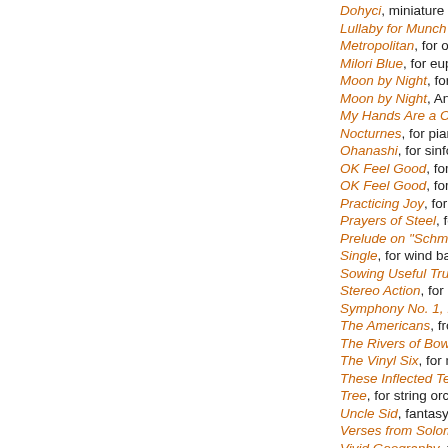Dohyci, miniature for violin
Lullaby for Munch in Hell, for
Metropolitan, for orchestra
Milori Blue, for euphonium a
Moon by Night, for band an
Moon by Night, Anthem for
My Hands Are a City, from Sy
Nocturnes, for piano solo -
Ohanashi, for sinfonia - vie
OK Feel Good, for chamber
OK Feel Good, for wind orch
Practicing Joy, for percussio
Prayers of Steel, for brass qu
Prelude on "Schmücke Dich",
Single, for wind band - view
Sowing Useful Truths, for wir
Stereo Action, for percussio
Symphony No. 1, My Hands A
The Americans, from Sympho
The Rivers of Bowery, an ove
The Vinyl Six, for mixed cha
These Inflected Tentacles, for
Tree, for string orchestra -
Uncle Sid, fantasy on a folk
Verses from Solomon, for so
Vivid Geography, for women
Wapwallopen, string quarte